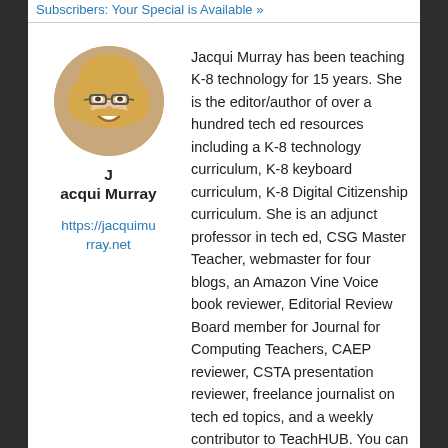Subscribers: Your Special is Available »
[Figure (photo): Circular portrait photo of Jacqueline Murray, a smiling woman with glasses and blonde hair]
Jacqui Murray
https://jacquimurray.net
Jacqui Murray has been teaching K-8 technology for 15 years. She is the editor/author of over a hundred tech ed resources including a K-8 technology curriculum, K-8 keyboard curriculum, K-8 Digital Citizenship curriculum. She is an adjunct professor in tech ed, CSG Master Teacher, webmaster for four blogs, an Amazon Vine Voice book reviewer, Editorial Review Board member for Journal for Computing Teachers, CAEP reviewer, CSTA presentation reviewer, freelance journalist on tech ed topics, and a weekly contributor to TeachHUB. You can find her resources at Structured Learning.
View more posts from this author